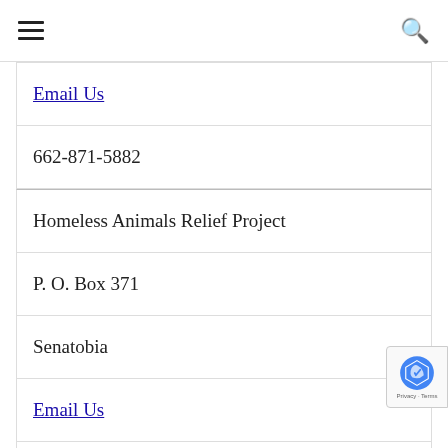≡  🔍
Email Us
662-871-5882
Homeless Animals Relief Project
P. O. Box 371
Senatobia
Email Us
662-292-0922